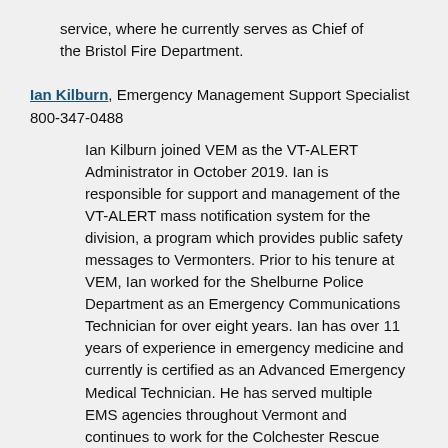service, where he currently serves as Chief of the Bristol Fire Department.
Ian Kilburn, Emergency Management Support Specialist 800-347-0488
Ian Kilburn joined VEM as the VT-ALERT Administrator in October 2019. Ian is responsible for support and management of the VT-ALERT mass notification system for the division, a program which provides public safety messages to Vermonters. Prior to his tenure at VEM, Ian worked for the Shelburne Police Department as an Emergency Communications Technician for over eight years. Ian has over 11 years of experience in emergency medicine and currently is certified as an Advanced Emergency Medical Technician. He has served multiple EMS agencies throughout Vermont and continues to work for the Colchester Rescue